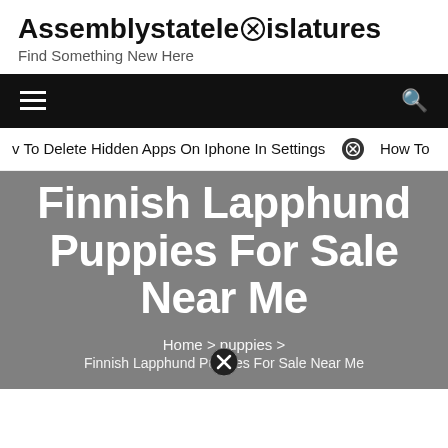Assemblystatelegislatures
Find Something New Here
v To Delete Hidden Apps On Iphone In Settings  ⊗  How To
Finnish Lapphund Puppies For Sale Near Me
Home > puppies > Finnish Lapphund Puppies For Sale Near Me